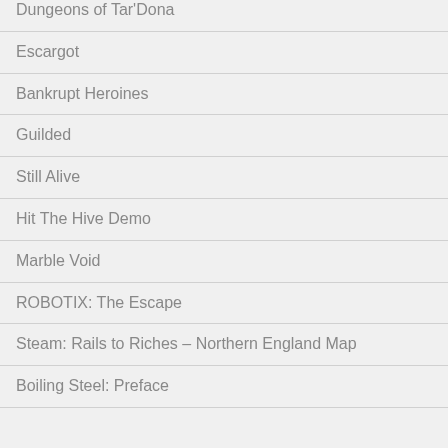Dungeons of Tar'Dona
Escargot
Bankrupt Heroines
Guilded
Still Alive
Hit The Hive Demo
Marble Void
ROBOTIX: The Escape
Steam: Rails to Riches – Northern England Map
Boiling Steel: Preface